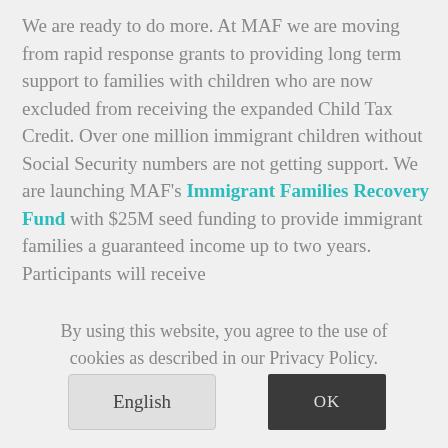We are ready to do more. At MAF we are moving from rapid response grants to providing long term support to families with children who are now excluded from receiving the expanded Child Tax Credit. Over one million immigrant children without Social Security numbers are not getting support. We are launching MAF's Immigrant Families Recovery Fund with $25M seed funding to provide immigrant families a guaranteed income up to two years. Participants will receive
By using this website, you agree to the use of cookies as described in our Privacy Policy.
English
OK